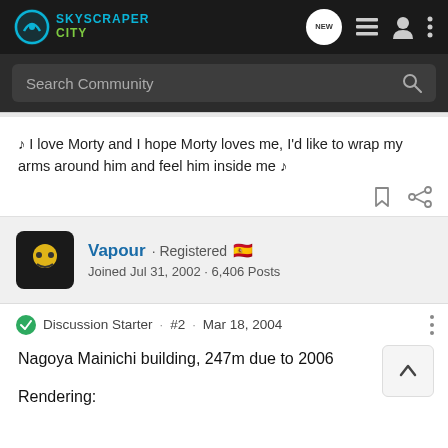SkyscraperCity — navigation bar with logo, NEW button, list icon, user icon, more icon
Search Community
♪ I love Morty and I hope Morty loves me, I'd like to wrap my arms around him and feel him inside me ♪
Vapour · Registered 🇪🇸
Joined Jul 31, 2002 · 6,406 Posts
Discussion Starter · #2 · Mar 18, 2004
Nagoya Mainichi building, 247m due to 2006
Rendering: